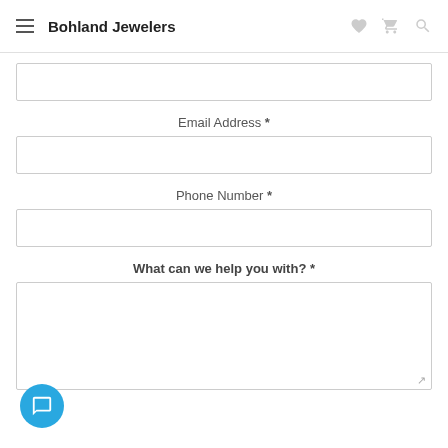Bohland Jewelers
Email Address *
Phone Number *
What can we help you with? *